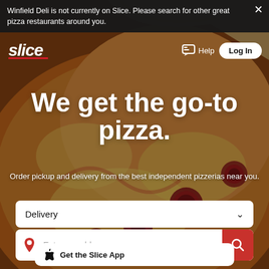Winfield Deli is not currently on Slice. Please search for other great pizza restaurants around you.
[Figure (logo): Slice logo in white on dark background]
Help
Log In
[Figure (photo): Close-up photo of pepperoni pizza with someone holding a slice, warm orange-red tones]
We get the go-to pizza.
Order pickup and delivery from the best independent pizzerias near you.
Delivery
Enter an address
Get the Slice App